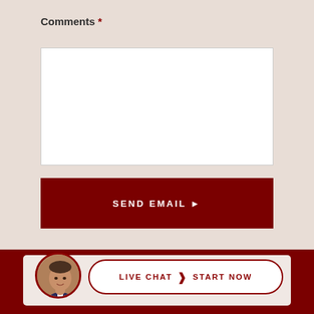Comments *
[Figure (screenshot): Empty white textarea input box for comments]
SEND EMAIL →
[Figure (screenshot): Live chat widget with avatar photo of a man in a suit, and a white pill-shaped button reading LIVE CHAT > START NOW on a dark red background]